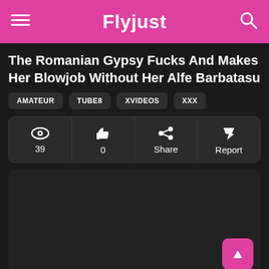Flyjust
The Romanian Gypsy Fucks And Makes Her Blowjob Without Her Alfe Barbatasu
AMATEUR
TUBE8
XVIDEOS
XXX
| Views | Likes | Share | Report |
| --- | --- | --- | --- |
| 39 | 0 | Share | Report |
[Figure (screenshot): Dark video player area, blank/black content]